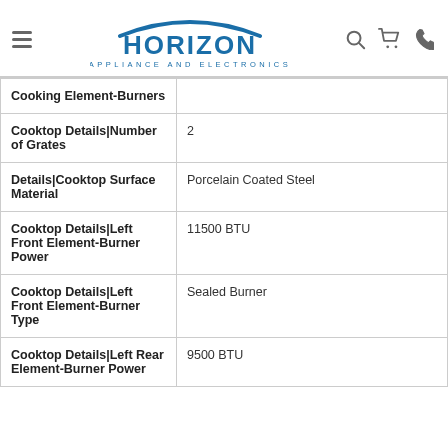HORIZON APPLIANCE AND ELECTRONICS
| Feature | Value |
| --- | --- |
| Cooking Element-Burners |  |
| Cooktop Details|Number of Grates | 2 |
| Details|Cooktop Surface Material | Porcelain Coated Steel |
| Cooktop Details|Left Front Element-Burner Power | 11500 BTU |
| Cooktop Details|Left Front Element-Burner Type | Sealed Burner |
| Cooktop Details|Left Rear Element-Burner Power | 9500 BTU |